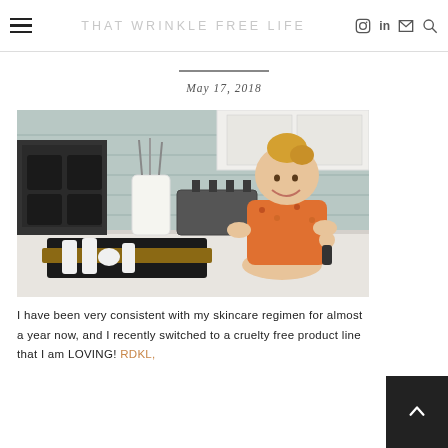THAT WRINKLE FREE LIFE
May 17, 2018
[Figure (photo): Young toddler girl with blonde hair sitting on a kitchen counter next to a black tray containing skincare product bottles, with kitchen appliances in the background]
I have been very consistent with my skincare regimen for almost a year now, and I recently switched to a cruelty free product line that I am LOVING! RDKL,